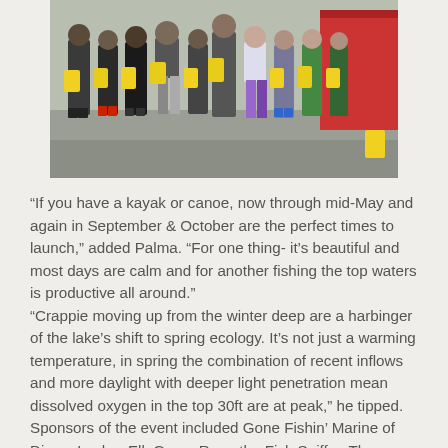[Figure (photo): Group photo of children and adults standing outdoors holding yellow bags, with a red tent/canopy visible in the background.]
“If you have a kayak or canoe, now through mid-May and again in September & October are the perfect times to launch,” added Palma. “For one thing- it’s beautiful and most days are calm and for another fishing the top waters is productive all around.”
“Crappie moving up from the winter deep are a harbinger of the lake’s shift to spring ecology. It’s not just a warming temperature, in spring the combination of recent inflows and more daylight with deeper light penetration mean dissolved oxygen in the top 30ft are at peak,” he tipped.
Sponsors of the event included Gone Fishin’ Marine of Dixon, Lasher Elk Grove Ram, the Fish Sniffer, Thomas Lures, Silver Horde, Yo-Zuri, Mack’s Lure/Shasta Tackle, Hot Spot/Apex, Rapala, Luhr Jensen, Dick Nite Spoons, Yakima Bait, Berkley, Pro-Cure Bait Scents and Fisherman’s Warehouse. Daiwa is sponsoring the 2019 NTAC Daiwa Angler of the Year Award